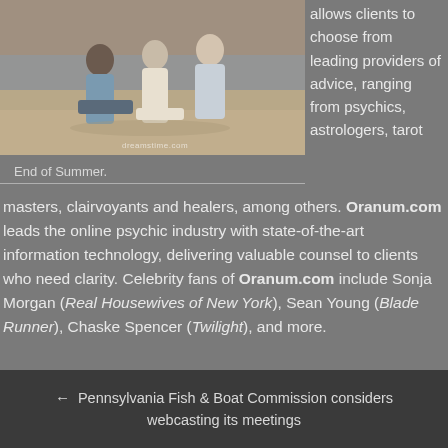[Figure (photo): Beach photo of people sitting on sand, watermarked with dreamstime.com]
allows clients to choose from leading providers of advice, ranging from psychics, astrologers, tarot masters, clairvoyants and healers, among others.
End of Summer.
Oranum.com leads the online psychic industry with state-of-the-art information technology, delivering valuable counsel to clients who need clarity. Celebrity fans of Oranum.com include Sonja Morgan (Real Housewives of New York), Sean Young (Blade Runner), Chaske Spencer (Twilight), and more.
← Pennsylvania Fish & Boat Commission considers webcasting its meetings